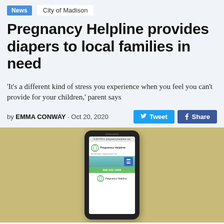News  City of Madison
Pregnancy Helpline provides diapers to local families in need
'It's a different kind of stress you experience when you feel you can't provide for your children,' parent says
by EMMA CONWAY · Oct 20, 2020
[Figure (photo): A smartphone displaying the Pregnancy Helpline website, showing the organization logo, a teal banner with menu icon, a green phone number bar showing 608-222-1008, and the Pregnancy Helpline logo again at the bottom. The phone is set against a yellow-green background.]